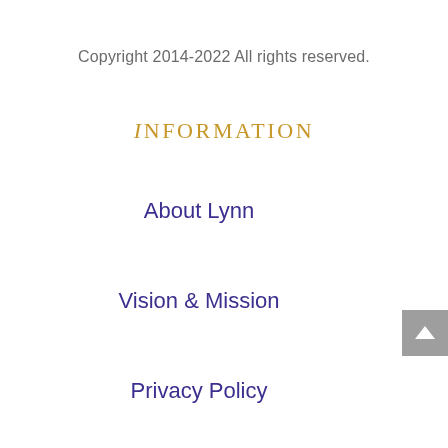Copyright 2014-2022 All rights reserved.
Information
About Lynn
Vision & Mission
Privacy Policy